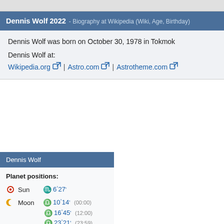Dennis Wolf 2022 - Biography at Wikipedia (Wiki, Age, Birthday)
Dennis Wolf was born on October 30, 1978 in Tokmok
Dennis Wolf at:
Wikipedia.org | Astro.com | Astrotheme.com
Dennis Wolf
Planet positions:
Sun  ♏  6°27'
Moon  ♎  10°14'  (00:00)
♎  16°45'  (12:00)
♎  23°21'  (23:59)